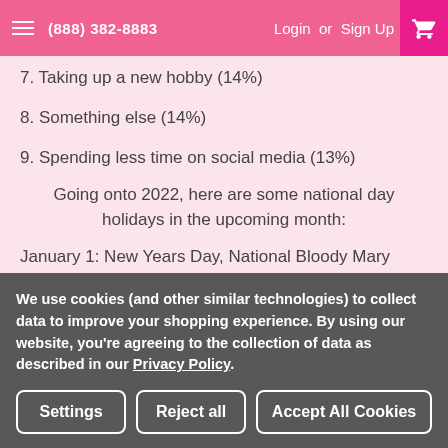(888) 382-8883  Login or Sign Up
7. Taking up a new hobby (14%)
8. Something else (14%)
9. Spending less time on social media (13%)
Going onto 2022, here are some national day holidays in the upcoming month:
January 1: New Years Day, National Bloody Mary Day, National Hangover Day
January 4: National Coffee Day, National Cream of Tom...
We use cookies (and other similar technologies) to collect data to improve your shopping experience. By using our website, you're agreeing to the collection of data as described in our Privacy Policy.
Settings | Reject all | Accept All Cookies